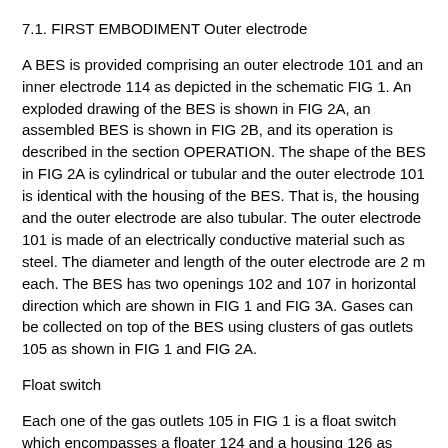7.1. FIRST EMBODIMENT Outer electrode
A BES is provided comprising an outer electrode 101 and an inner electrode 114 as depicted in the schematic FIG 1. An exploded drawing of the BES is shown in FIG 2A, an assembled BES is shown in FIG 2B, and its operation is described in the section OPERATION. The shape of the BES in FIG 2A is cylindrical or tubular and the outer electrode 101 is identical with the housing of the BES. That is, the housing and the outer electrode are also tubular. The outer electrode 101 is made of an electrically conductive material such as steel. The diameter and length of the outer electrode are 2 m each. The BES has two openings 102 and 107 in horizontal direction which are shown in FIG 1 and FIG 3A. Gases can be collected on top of the BES using clusters of gas outlets 105 as shown in FIG 1 and FIG 2A.
Float switch
Each one of the gas outlets 105 in FIG 1 is a float switch which encompasses a floater 124 and a housing 126 as shown in FIG 4A. Perspective, Top and Side views of the float switch housing or wall 126 are depicted in FIG 4A and